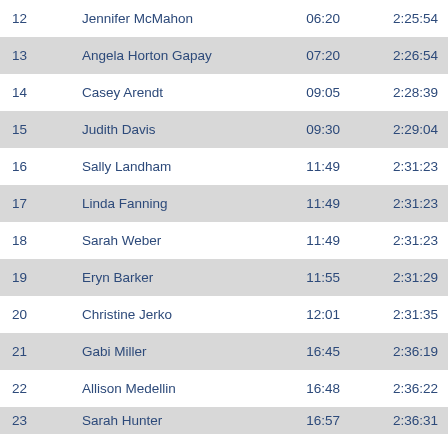| # | Name | Time1 | Finish |
| --- | --- | --- | --- |
| 12 | Jennifer McMahon | 06:20 | 2:25:54 |
| 13 | Angela Horton Gapay | 07:20 | 2:26:54 |
| 14 | Casey Arendt | 09:05 | 2:28:39 |
| 15 | Judith Davis | 09:30 | 2:29:04 |
| 16 | Sally Landham | 11:49 | 2:31:23 |
| 17 | Linda Fanning | 11:49 | 2:31:23 |
| 18 | Sarah Weber | 11:49 | 2:31:23 |
| 19 | Eryn Barker | 11:55 | 2:31:29 |
| 20 | Christine Jerko | 12:01 | 2:31:35 |
| 21 | Gabi Miller | 16:45 | 2:36:19 |
| 22 | Allison Medellin | 16:48 | 2:36:22 |
| 23 | Sarah Hunter | 16:57 | 2:36:31 |